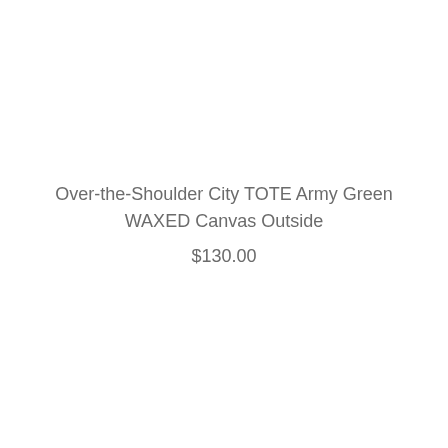Over-the-Shoulder City TOTE Army Green WAXED Canvas Outside
$130.00